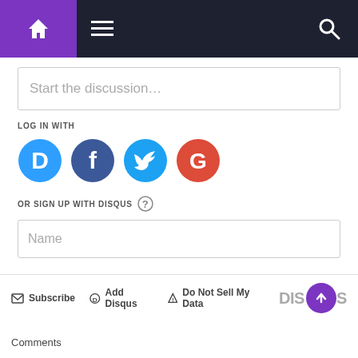[Figure (screenshot): Navigation bar with purple home icon, dark hamburger menu area, and search icon on right]
Start the discussion…
LOG IN WITH
[Figure (infographic): Social login icons: Disqus (blue circle D), Facebook (dark blue circle f), Twitter (light blue circle bird), Google (red circle G)]
OR SIGN UP WITH DISQUS ?
Name
Be the first to comment.
Subscribe   Add Disqus   Do Not Sell My Data   DISQUS